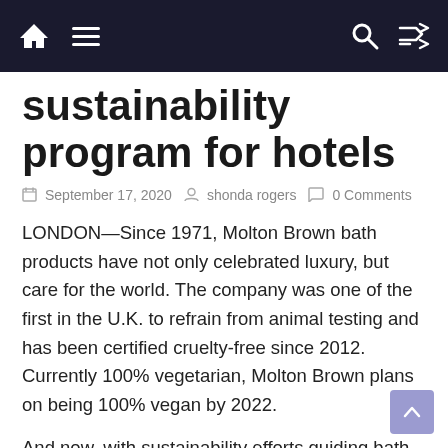[Navigation bar with home, menu, search, and shuffle icons]
sustainability program for hotels
September 17, 2020  shonda rogers  0 Comments
LONDON—Since 1971, Molton Brown bath products have not only celebrated luxury, but care for the world. The company was one of the first in the U.K. to refrain from animal testing and has been certified cruelty-free since 2012. Currently 100% vegetarian, Molton Brown plans on being 100% vegan by 2022.
And now, with sustainability efforts guiding bath ingredients, the company is making strides in its hospitality products. The majority of palm oil used in Molton Brown products is already traceable